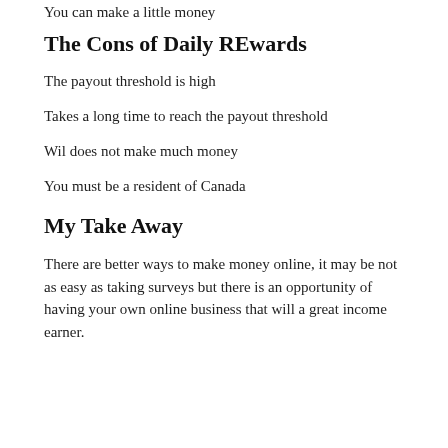You can make a little money
The Cons of Daily REwards
The payout threshold is high
Takes a long time to reach the payout threshold
Wil does not make much money
You must be a resident of Canada
My Take Away
There are better ways to make money online, it may be not as easy as taking surveys but there is an opportunity of having your own online business that will a great income earner.